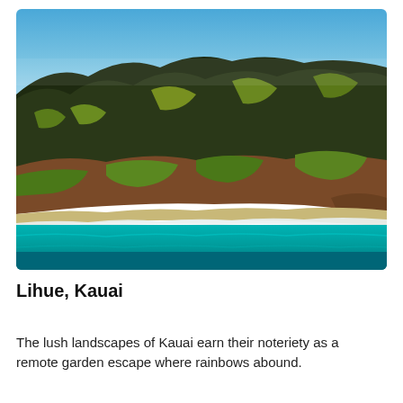[Figure (photo): Aerial photograph of the Na Pali Coast, Kauai, Hawaii. Dramatic green and brown cliffs rise sharply from a turquoise ocean with white surf at the shoreline. Blue sky above.]
Lihue, Kauai
The lush landscapes of Kauai earn their noteriety as a remote garden escape where rainbows abound.